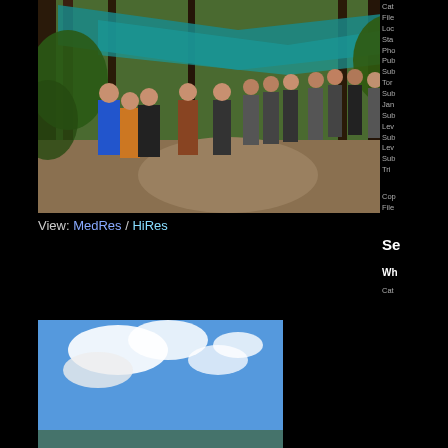[Figure (photo): Group of people walking along a forest trail under teal/blue tarps stretched between trees. Lush green jungle setting with dappled sunlight.]
View: MedRes / HiRes
Cat
File
Loc
Sta
Pho
Pub
Sub
Tor
Sub
Jan
Sub
Lev
Sub
Lev
Sub
Tri

Cop
File
Se
Wh
Cat
[Figure (photo): Outdoor scene with blue sky and white clouds visible, partial landscape.]